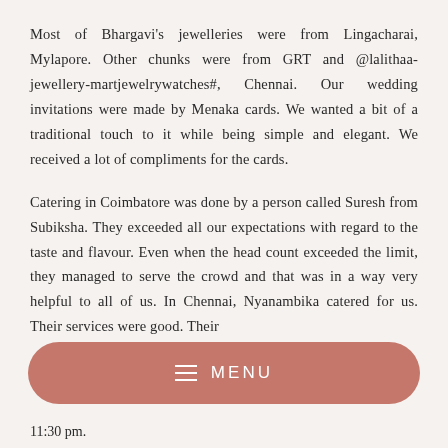Most of Bhargavi's jewelleries were from Lingacharai, Mylapore. Other chunks were from GRT and @lalithaa-jewellery-martjewelrywatches#, Chennai. Our wedding invitations were made by Menaka cards. We wanted a bit of a traditional touch to it while being simple and elegant. We received a lot of compliments for the cards.
Catering in Coimbatore was done by a person called Suresh from Subiksha. They exceeded all our expectations with regard to the taste and flavour. Even when the head count exceeded the limit, they managed to serve the crowd and that was in a way very helpful to all of us. In Chennai, Nyanambika catered for us. Their services were good. Their
[Figure (other): A rounded rectangular button with terracotta/salmon color containing a hamburger menu icon (three horizontal lines) and the text MENU in white letters]
11:30 pm.